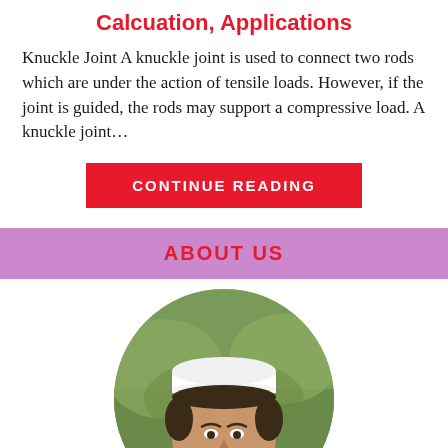Calcuation, Applications
Knuckle Joint A knuckle joint is used to connect two rods which are under the action of tensile loads. However, if the joint is guided, the rods may support a compressive load. A knuckle joint…
CONTINUE READING
ABOUT US
[Figure (photo): Circular portrait photo of a man wearing a white cap, outdoors with green blurred background]